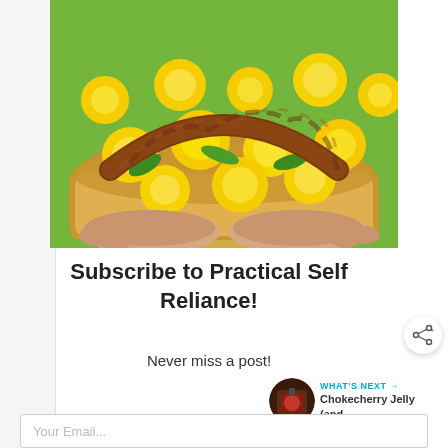[Figure (photo): Hands holding a wicker basket filled with bright yellow dandelion flowers, with a braided leather strap across the top]
Subscribe to Practical Self Reliance!
Never miss a post!
[Figure (infographic): Share button icon (circular white button with share symbol)]
[Figure (infographic): WHAT'S NEXT arrow label with thumbnail image and text: Chokecherry Jelly (and...]
Your Email...